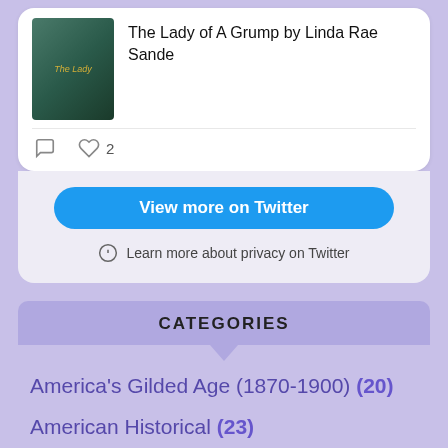[Figure (illustration): Book cover for 'The Lady of A Grump' showing two people in period dress]
The Lady of A Grump by Linda Rae Sande
2 likes
View more on Twitter
Learn more about privacy on Twitter
CATEGORIES
America's Gilded Age (1870-1900) (20)
American Historical (23)
Ancient Britain (6)